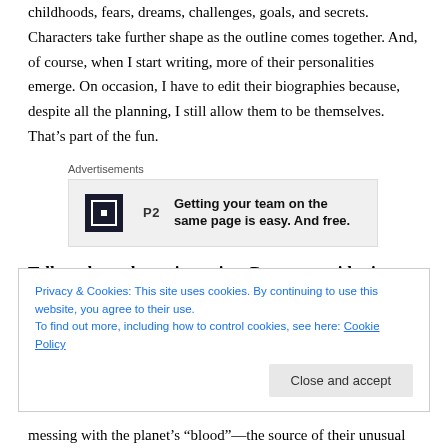childhoods, fears, dreams, challenges, goals, and secrets. Characters take further shape as the outline comes together. And, of course, when I start writing, more of their personalities emerge. On occasion, I have to edit their biographies because, despite all the planning, I still allow them to be themselves. That's part of the fun.
Advertisements
[Figure (other): P2 advertisement banner: logo with 'P2' text and tagline 'Getting your team on the same page is easy. And free.']
Tell us about the main setting. Do you consider it to be a character in the book?
Privacy & Cookies: This site uses cookies. By continuing to use this website, you agree to their use.
To find out more, including how to control cookies, see here: Cookie Policy
messing with the planet's “blood”—the source of their unusual